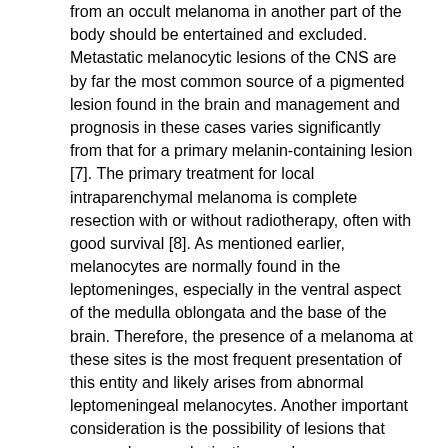from an occult melanoma in another part of the body should be entertained and excluded. Metastatic melanocytic lesions of the CNS are by far the most common source of a pigmented lesion found in the brain and management and prognosis in these cases varies significantly from that for a primary melanin-containing lesion [7]. The primary treatment for local intraparenchymal melanoma is complete resection with or without radiotherapy, often with good survival [8]. As mentioned earlier, melanocytes are normally found in the leptomeninges, especially in the ventral aspect of the medulla oblongata and the base of the brain. Therefore, the presence of a melanoma at these sites is the most frequent presentation of this entity and likely arises from abnormal leptomeningeal melanocytes. Another important consideration is the possibility of lesions that may undergo melanization, such as schwannomas, gliomas [7], and melanocytic meningiomas, as well as meningeal melanocytosis, which is benign. Of the few reported cases of primary brain melanoma in the literature, the vast majority have been in adults.
The prognosis also varies and there have been mixed outcomes reported in the literature as well as use of different treatment regimens. The mainstays of treatment for intraparenchymal melanotic tumors are complete resection and postoperative chemoradiotherapy, which result in a survival of up to 17 years in adults [2]. In contrast, the prognosis is poor in pediatric patients,